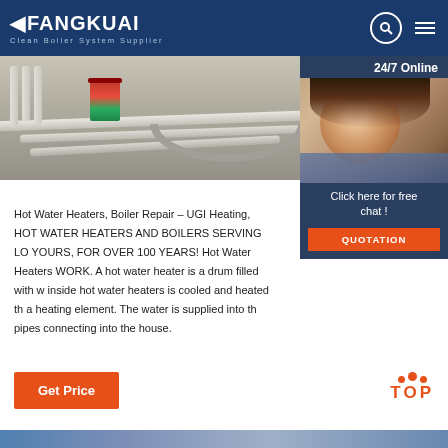FANGKUAI Clean Boiler System Supplier
[Figure (photo): Photo of industrial pipes and a paint can on a concrete surface, showing boiler/heating system components]
[Figure (photo): 24/7 Online sidebar with female customer service agent wearing headset, with 'Click here for free chat!' text and QUOTATION button]
Hot Water Heaters, Boiler Repair – UGI Heating, HOT WATER HEATERS AND BOILERS SERVING LO YOURS, FOR OVER 100 YEARS! Hot Water Heaters WORK. A hot water heater is a drum filled with w inside hot water heaters is cooled and heated th a heating element. The water is supplied into th pipes connecting into the house.
[Figure (other): Get Price orange button]
[Figure (other): TOP scroll-to-top button with orange dots and text]
[Figure (photo): Bottom strip image preview]